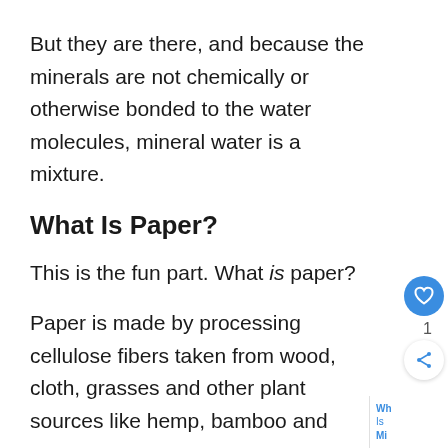But they are there, and because the minerals are not chemically or otherwise bonded to the water molecules, mineral water is a mixture.
What Is Paper?
This is the fun part. What is paper?
Paper is made by processing cellulose fibers taken from wood, cloth, grasses and other plant sources like hemp, bamboo and sugar cane.